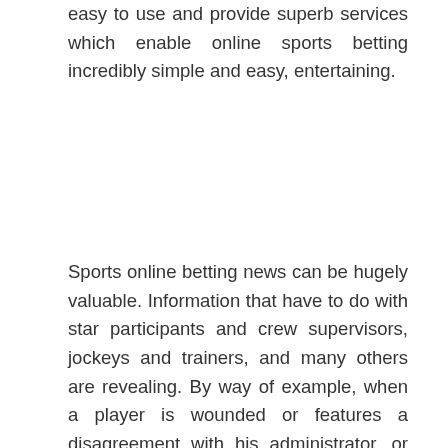easy to use and provide superb services which enable online sports betting incredibly simple and easy, entertaining.
Sports online betting news can be hugely valuable. Information that have to do with star participants and crew supervisors, jockeys and trainers, and many others are revealing. By way of example, when a player is wounded or features a disagreement with his administrator, or possibly a fitness instructor has instantly dumped a specific horse, these pieces of news can give you the hot suggestion you must